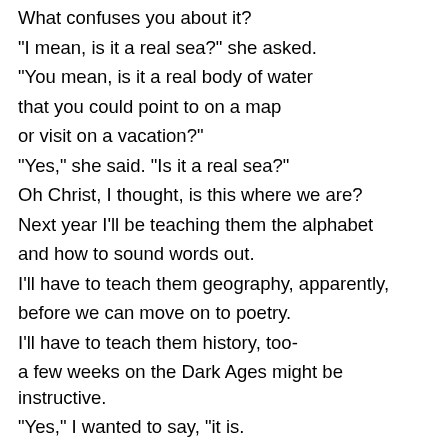What confuses you about it?
“I mean, is it a real sea?” she asked.
“You mean, is it a real body of water
that you could point to on a map
or visit on a vacation?”
“Yes,” she said. “Is it a real sea?”
Oh Christ, I thought, is this where we are?
Next year I’ll be teaching them the alphabet
and how to sound words out.
I’ll have to teach them geography, apparently,
before we can move on to poetry.
I’ll have to teach them history, too-
a few weeks on the Dark Ages might be instructive.
“Yes,” I wanted to say, “it is.
It is a real sea. In fact it flows